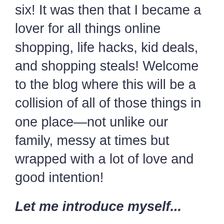six!  It was then that I became a lover for all things online shopping, life hacks, kid deals, and shopping steals!  Welcome to the blog where this will be a collision of all of those things in one place—not unlike our family, messy at times but wrapped with a lot of love and good intention!
Let me introduce myself...
I'm a Milwaukee native, born and raised who escaped at the